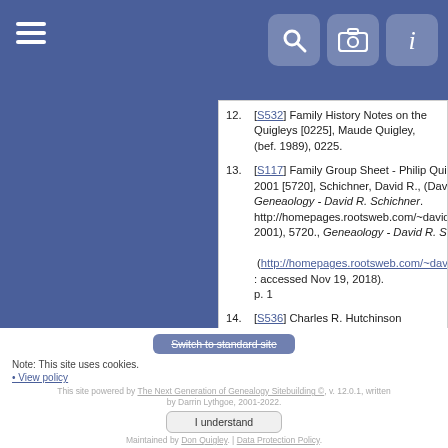Navigation bar with hamburger menu and icons
[S532] Family History Notes on the Quigleys [0225], Maude Quigley, (bef. 1989), 0225.
[S117] Family Group Sheet - Philip Quigley Report; 2001 [5720], Schichner, David R., (David Schichner. Geneaology - David R. Schichner. http://homepages.rootsweb.com/~davidca/index.htm : 2001), 5720., Geneaology - David R. Schichner (http://homepages.rootsweb.com/~davidca/index.htm : accessed Nov 19, 2018). p. 1
[S536] Charles R. Hutchinson Collection - Pearson Family Records; 1600s-1800s (transcription) [5722B], Charles R. Hutchinson, (familysearch.org: 1917-1919), 5722B., 77. accessed Dec 8, 2018. Married when Daniel died in 1759.
Note: This site uses cookies.
• View policy
This site powered by The Next Generation of Genealogy Sitebuilding ©, v. 12.0.1, written by Darrin Lythgoe, 2001-2022.
Maintained by Don Quigley. | Data Protection Policy.